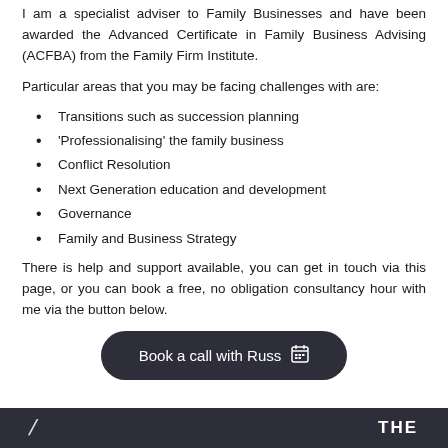I am a specialist adviser to Family Businesses and have been awarded the Advanced Certificate in Family Business Advising (ACFBA) from the Family Firm Institute.
Particular areas that you may be facing challenges with are:
Transitions such as succession planning
'Professionalising' the family business
Conflict Resolution
Next Generation education and development
Governance
Family and Business Strategy
There is help and support available, you can get in touch via this page, or you can book a free, no obligation consultancy hour with me via the button below.
[Figure (other): Dark rounded button labelled 'Book a call with Russ' with a calendar icon]
THE